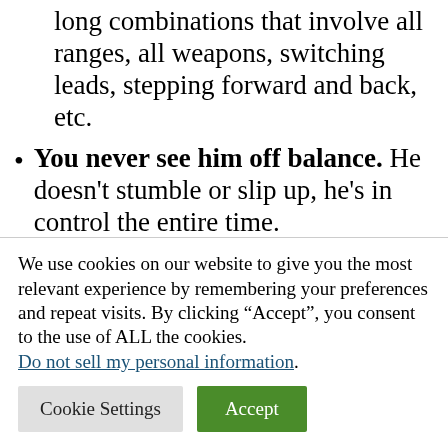long combinations that involve all ranges, all weapons, switching leads, stepping forward and back, etc.
You never see him off balance. He doesn't stumble or slip up, he's in control the entire time.
But that's not really what I wanted to talk about. It's important, but for now it's just
We use cookies on our website to give you the most relevant experience by remembering your preferences and repeat visits. By clicking “Accept”, you consent to the use of ALL the cookies. Do not sell my personal information.
Cookie Settings | Accept